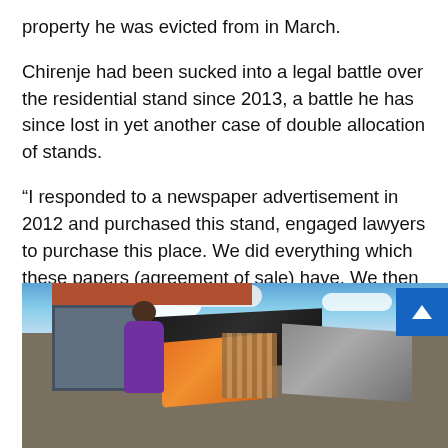property he was evicted from in March.
Chirenje had been sucked into a legal battle over the residential stand since 2013, a battle he has since lost in yet another case of double allocation of stands.
“I responded to a newspaper advertisement in 2012 and purchased this stand, engaged lawyers to purchase this place. We did everything which these papers (agreement of sale) have. We then engaged the council to facilitate the change of ownership, but they told me to construct a structure before they can grant it. I sold my two cars and sadly one of my houses that I got as a pension,” he said.
[Figure (photo): A man in a purple shirt standing in front of a makeshift structure with dark and orange tarps draped over a fence/gate, with a house with a red roof visible in the background and a blue sky with clouds above.]